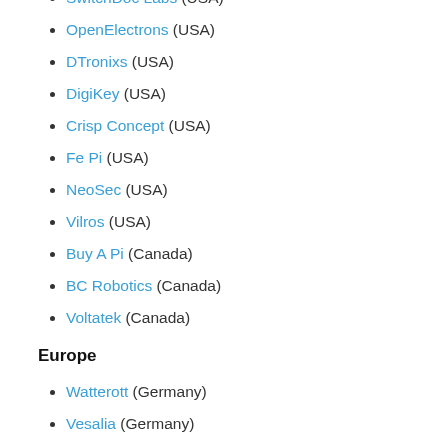SwitchDoc Labs (USA)
OpenElectrons (USA)
DTronixs (USA)
DigiKey (USA)
Crisp Concept (USA)
Fe Pi (USA)
NeoSec (USA)
Vilros (USA)
Buy A Pi (Canada)
BC Robotics (Canada)
Voltatek (Canada)
Europe
Watterott (Germany)
Vesalia (Germany)
Reichelt Elektronik (Germany)
pi3g (Germany)
UUGear (Czech Republic)
r-pi.se (Sweden)